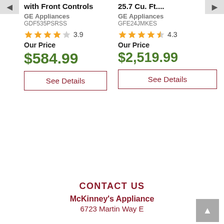with Front Controls
GE Appliances
GDF535PSRSS
★★★★☆ 3.9
Our Price
$584.99
See Details
25.7 Cu. Ft....
GE Appliances
GFE24JMKES
★★★★½ 4.3
Our Price
$2,519.99
See Details
CONTACT US
McKinney's Appliance
6723 Martin Way E